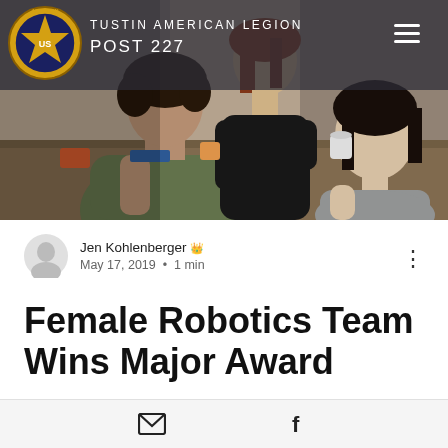[Figure (photo): Hero photo showing three women working together at a workshop table with electronic components and craft materials. A woman with dark curly hair in an olive shirt is seated, a woman with red hair stands behind leaning over, and a third woman with dark hair in a gray shirt is on the right.]
TUSTIN AMERICAN LEGION POST 227
Jen Kohlenberger 👑
May 17, 2019  •  1 min
Female Robotics Team Wins Major Award